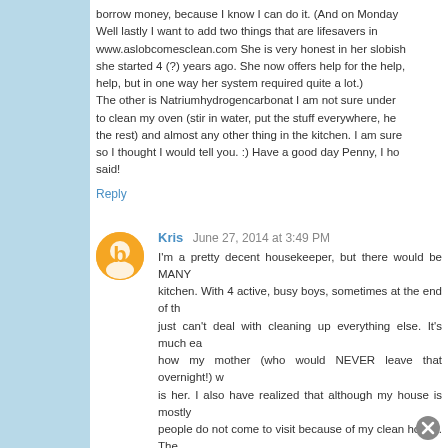borrow money, because I know I can do it. (And on Monday Well lastly I want to add two things that are lifesavers in www.aslobcomesclean.com She is very honest in her slobish she started 4 (?) years ago. She now offers help for the help, but in one way her system required quite a lot.) The other is Natriumhydrogencarbonat I am not sure under to clean my oven (stir in water, put the stuff everywhere, he the rest) and almost any other thing in the kitchen. I am sure so I thought I would tell you. :) Have a good day Penny, I ho said!
Reply
Kris  June 27, 2014 at 3:49 PM
I'm a pretty decent housekeeper, but there would be MANY kitchen. With 4 active, busy boys, sometimes at the end of th just can't deal with cleaning up everything else. It's much ea how my mother (who would NEVER leave that overnight!) w is her. I also have realized that although my house is mostly people do not come to visit because of my clean house. The that when all the kids are grown, my house can be spot naysayers get you down.
Reply